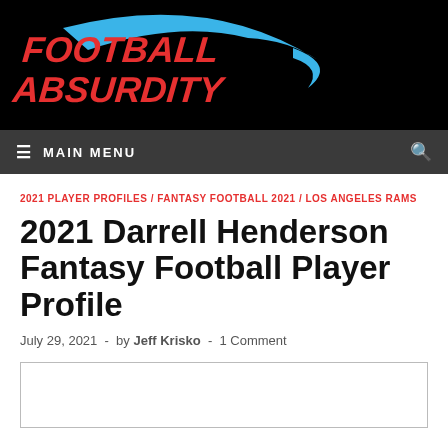[Figure (logo): Football Absurdity logo with red stylized text and blue swoosh on black background]
≡ MAIN MENU
2021 PLAYER PROFILES / FANTASY FOOTBALL 2021 / LOS ANGELES RAMS
2021 Darrell Henderson Fantasy Football Player Profile
July 29, 2021  -  by Jeff Krisko  -  1 Comment
[Figure (photo): Image placeholder at bottom of page]